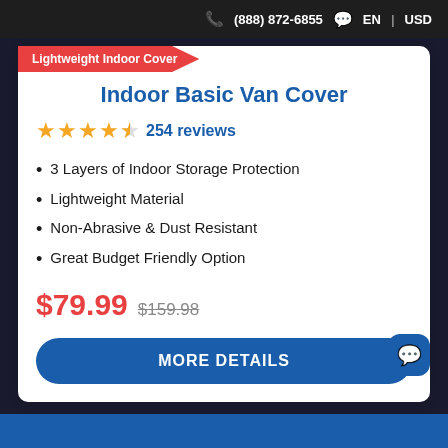(888) 872-6855  EN | USD
Lightweight Indoor Cover
Indoor Basic Van Cover
★★★★½ 254 reviews
3 Layers of Indoor Storage Protection
Lightweight Material
Non-Abrasive & Dust Resistant
Great Budget Friendly Option
$79.99 $159.98
MORE DETAILS
empire